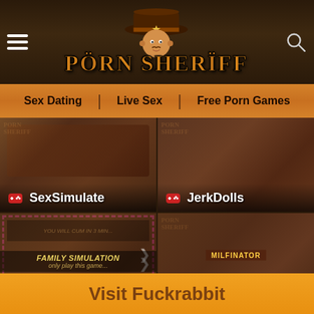PORN SHERIFF
Sex Dating | Live Sex | Free Porn Games
[Figure (screenshot): Game card for SexSimulate with dark background and gamepad icon]
SexSimulate
[Figure (screenshot): Game card for JerkDolls with dark background and gamepad icon]
JerkDolls
[Figure (screenshot): Game card for Family Simulator with pink dashed border and FAMILY SIMULATION banner]
Family Simulator
[Figure (screenshot): Game card for Milfinator with dark background and MILFINATOR label]
Milfinator
Visit Fuckrabbit